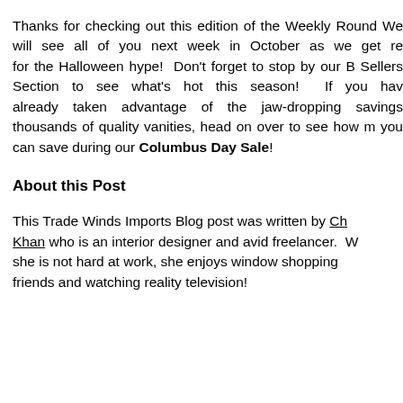Thanks for checking out this edition of the Weekly Round. We will see all of you next week in October as we get ready for the Halloween hype! Don't forget to stop by our Best Sellers Section to see what's hot this season! If you have already taken advantage of the jaw-dropping savings on thousands of quality vanities, head on over to see how much you can save during our Columbus Day Sale!
About this Post
This Trade Winds Imports Blog post was written by Ch Khan who is an interior designer and avid freelancer. When she is not hard at work, she enjoys window shopping with friends and watching reality television!